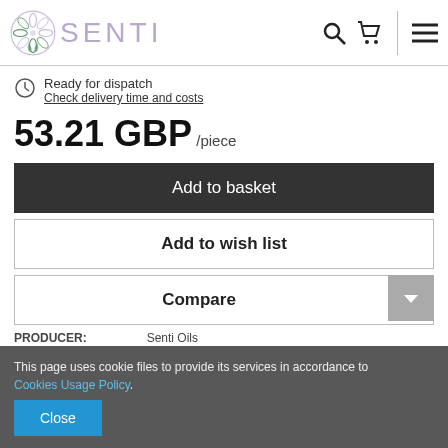[Figure (logo): Senti brand logo with circular flower/leaf design and text SENTI]
Ready for dispatch
Check delivery time and costs
53.21 GBP /piece
Add to basket
Add to wish list
Compare
This page uses cookie files to provide its services in accordance to Cookies Usage Policy.
Close
PRODUCER:                    Senti Oils